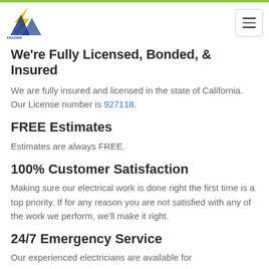Frazier Mountain Electric logo and navigation
We're Fully Licensed, Bonded, & Insured
We are fully insured and licensed in the state of California. Our License number is 927118.
FREE Estimates
Estimates are always FREE.
100% Customer Satisfaction
Making sure our electrical work is done right the first time is a top priority. If for any reason you are not satisfied with any of the work we perform, we'll make it right.
24/7 Emergency Service
Our experienced electricians are available for